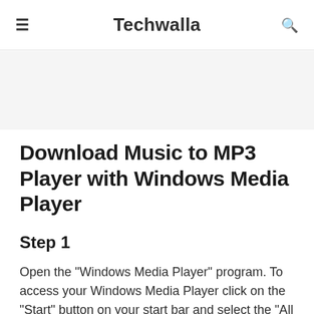≡  Techwalla  🔍
[Figure (other): Gray advertisement banner area]
Download Music to MP3 Player with Windows Media Player
Step 1
Open the "Windows Media Player" program. To access your Windows Media Player click on the "Start" button on your start bar and select the "All Programs" menu